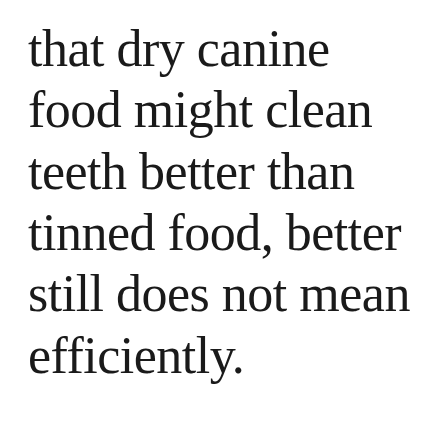that dry canine food might clean teeth better than tinned food, better still does not mean efficiently.